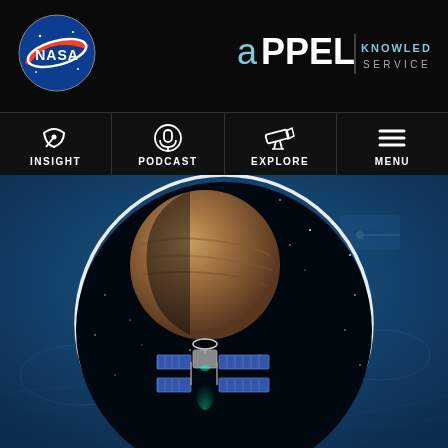[Figure (logo): NASA meatball logo - blue circle with red chevron and white NASA text]
[Figure (logo): APPEL Knowledge Services logo in white and grey text on black background]
[Figure (infographic): Navigation bar with four icons: satellite dish (INSIGHT), microphone (PODCAST), telescope (EXPLORE), hamburger menu (MENU)]
[Figure (photo): Space illustration showing a spacecraft with solar panels orbiting near a planet (Mercury/Jupiter-like), set against a starfield, displayed in a circular crop over a blue-tinted background showing lunar/planetary surface imagery]